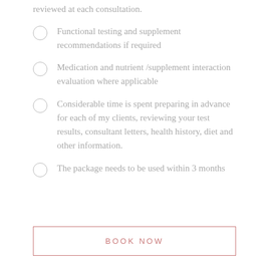reviewed at each consultation.
Functional testing and supplement recommendations if required
Medication and nutrient /supplement interaction evaluation where applicable
Considerable time is spent preparing in advance for each of my clients, reviewing your test results, consultant letters, health history, diet and other information.
The package needs to be used within 3 months
BOOK NOW